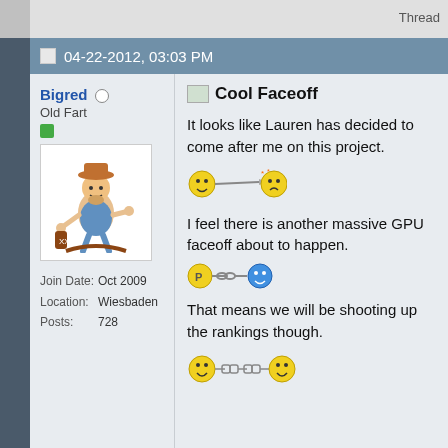Thread
04-22-2012, 03:03 PM
Bigred
Old Fart
Join Date: Oct 2009
Location: Wiesbaden
Posts: 728
Cool Faceoff
It looks like Lauren has decided to come after me on this project.
I feel there is another massive GPU faceoff about to happen.
That means we will be shooting up the rankings though.